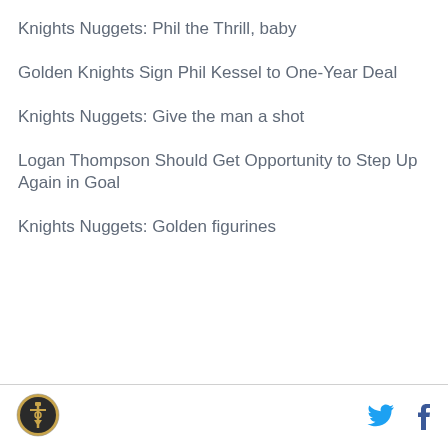Knights Nuggets: Phil the Thrill, baby
Golden Knights Sign Phil Kessel to One-Year Deal
Knights Nuggets: Give the man a shot
Logan Thompson Should Get Opportunity to Step Up Again in Goal
Knights Nuggets: Golden figurines
Logo | Twitter | Facebook